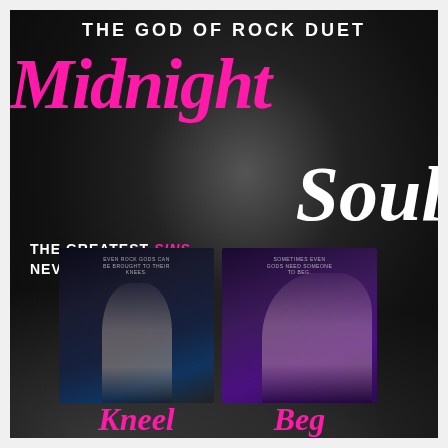THE GOD OF ROCK DUET
Midnight Soul
THE GREATEST SINS NEVER STAY HIDDEN.
[Figure (illustration): Book cover for 'Kneel' showing a shirtless male figure crouching in dark blue tones with small text 'Even rock gods can be brought to their knees.']
[Figure (illustration): Book cover for 'Beg' showing a female figure in purple/violet tones with small text 'Sometimes even gods need someone to beg.']